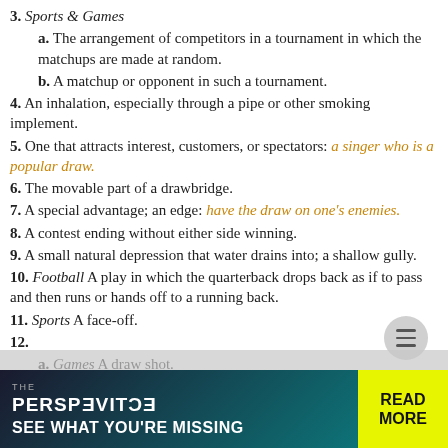3. Sports & Games
a. The arrangement of competitors in a tournament in which the matchups are made at random.
b. A matchup or opponent in such a tournament.
4. An inhalation, especially through a pipe or other smoking implement.
5. One that attracts interest, customers, or spectators: a singer who is a popular draw.
6. The movable part of a drawbridge.
7. A special advantage; an edge: have the draw on one's enemies.
8. A contest ending without either side winning.
9. A small natural depression that water drains into; a shallow gully.
10. Football A play in which the quarterback drops back as if to pass and then runs or hands off to a running back.
11. Sports A face-off.
12.
a. Games A draw shot.
b. Sports A moderate, usually controlled hook in golf.
Phrasal Verbs:
draw away
To move ahead of competitors.
[Figure (infographic): Advertisement banner: 'THE PERSPECTIVE — SEE WHAT YOU'RE MISSING' with yellow READ MORE button on dark teal background.]